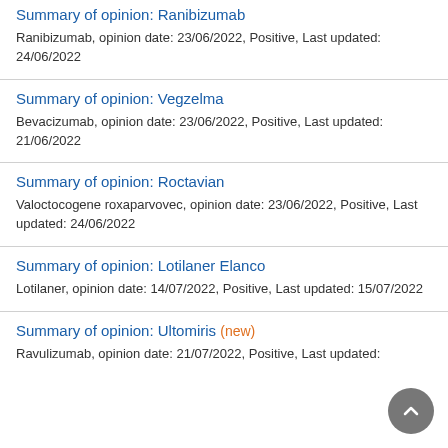Summary of opinion: Ranibizumab
Ranibizumab, opinion date: 23/06/2022, Positive, Last updated: 24/06/2022
Summary of opinion: Vegzelma
Bevacizumab, opinion date: 23/06/2022, Positive, Last updated: 21/06/2022
Summary of opinion: Roctavian
Valoctocogene roxaparvovec, opinion date: 23/06/2022, Positive, Last updated: 24/06/2022
Summary of opinion: Lotilaner Elanco
Lotilaner, opinion date: 14/07/2022, Positive, Last updated: 15/07/2022
Summary of opinion: Ultomiris (new)
Ravulizumab, opinion date: 21/07/2022, Positive, Last updated: